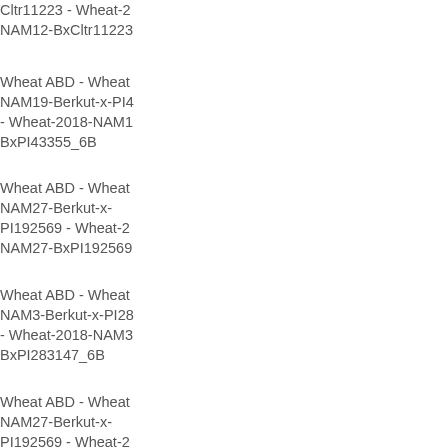Cltr11223 - Wheat-2018-NAM12-BxCltr11223
Wheat ABD - Wheat-2018-NAM19-Berkut-x-PI43355 - Wheat-2018-NAM19-BxPI43355_6B
Wheat ABD - Wheat-2018-NAM27-Berkut-x-PI192569 - Wheat-2018-NAM27-BxPI192569
Wheat ABD - Wheat-2018-NAM3-Berkut-x-PI283147 - Wheat-2018-NAM3-BxPI283147_6B
Wheat ABD - Wheat-2018-NAM27-Berkut-x-PI192569 - Wheat-2018-NAM27-BxPI192569
Wheat ABD - Wheat-2018-NAM2-Berkut-x-PI572692 - Wheat-2018-NAM2-BxPI572692_6B
Wheat ABD - Wheat-2018-NAM4-Berkut-x-PI366716 - Wheat-2018-NAM4-BxPI366716_6B